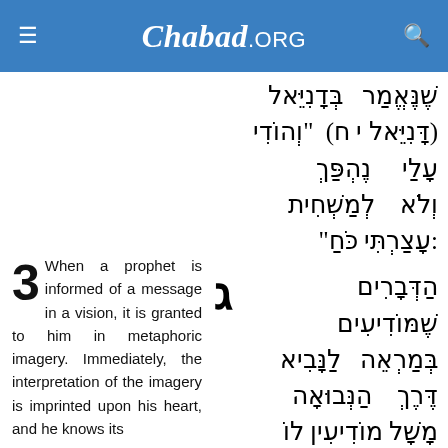Chabad.ORG
שֶׁנֶּאֱמַר בְּדָנִיֵּאל (דָּנִיֵּאל י ח) "וְהוֹדִי נֶהְפַּךְ עָלַי לְמַשְׁחִית וְלֹא עָצַרְתִּי כֹּחַ":
3 When a prophet is informed of a message in a vision, it is granted to him in metaphoric imagery. Immediately, the interpretation of the imagery is imprinted upon his heart, and he knows its
ג הַדְּבָרִים שֶׁמּוֹדִיעִים לַנָּבִיא בְּמַרְאֵה הַנְּבוּאָה דֶּרֶךְ מָשָׁל מוֹדִיעִין לוֹ